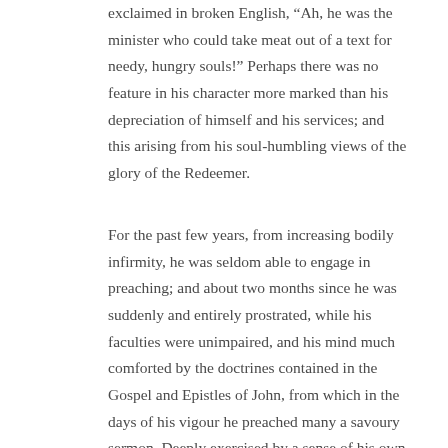exclaimed in broken English, “Ah, he was the minister who could take meat out of a text for needy, hungry souls!” Perhaps there was no feature in his character more marked than his depreciation of himself and his services; and this arising from his soul-humbling views of the glory of the Redeemer.
For the past few years, from increasing bodily infirmity, he was seldom able to engage in preaching; and about two months since he was suddenly and entirely prostrated, while his faculties were unimpaired, and his mind much comforted by the doctrines contained in the Gospel and Epistles of John, from which in the days of his vigour he preached many a savoury sermon. Deeply exercised by a sense of his own utter sinfulness, the glory of Christ, and the rich, sovereign love of God in Christ, he longed to be with him, that he might behold his face. When referring to his sufferings, he said that he felt it was the Lord who had brought him into these deep waters, that in them he was